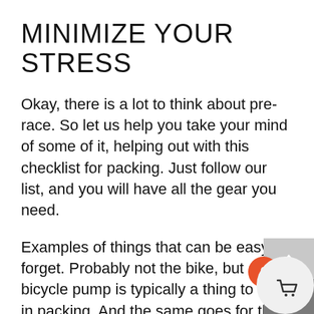MINIMIZE YOUR STRESS
Okay, there is a lot to think about pre-race. So let us help you take your mind of some of it, helping out with this checklist for packing. Just follow our list, and you will have all the gear you need.
Examples of things that can be easy to forget. Probably not the bike, but a bicycle pump is typically a thing to miss in packing. And the same goes for the towel.
We suggest printing this list and ticking off the boxes while packing. That way, when you a[rrive at] your race, you can focus on your race. Not w[here] you put that body glide.